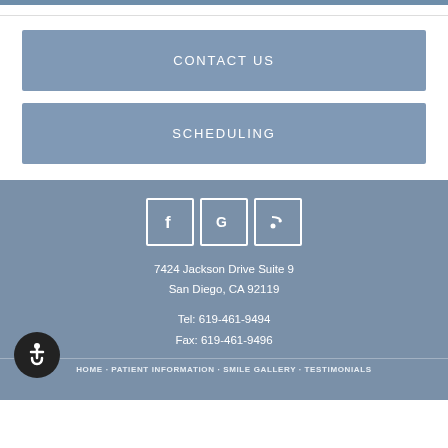[Figure (screenshot): Top blue bar strip]
CONTACT US
SCHEDULING
[Figure (infographic): Social media icons: Facebook (f), Google (G), RSS feed in white-outlined squares on blue-grey background]
7424 Jackson Drive Suite 9
San Diego, CA 92119
Tel: 619-461-9494
Fax: 619-461-9496
[Figure (illustration): Accessibility wheelchair icon in dark circle]
HOME · PATIENT INFORMATION · SMILE GALLERY · TESTIMONIALS